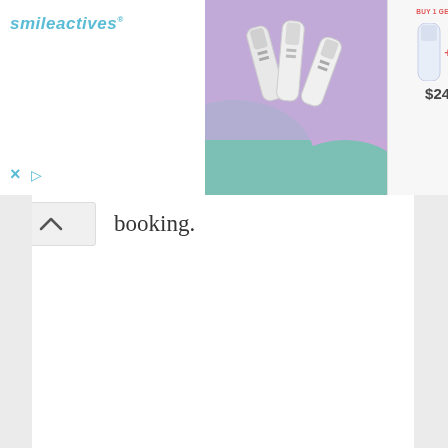[Figure (screenshot): smileactives advertisement banner showing BUY 1 GET 1 FREE offer with product bottles and price $24.95]
booking.